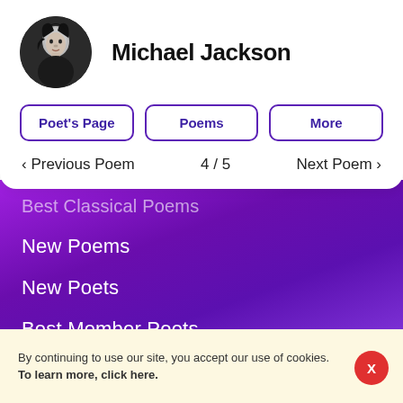Michael Jackson
Poet's Page
Poems
More
< Previous Poem   4 / 5   Next Poem >
Best Classical Poems
New Poems
New Poets
Best Member Poets
Best Classical Poets
Explore Poems
Explore Poets
By continuing to use our site, you accept our use of cookies.
To learn more, click here.